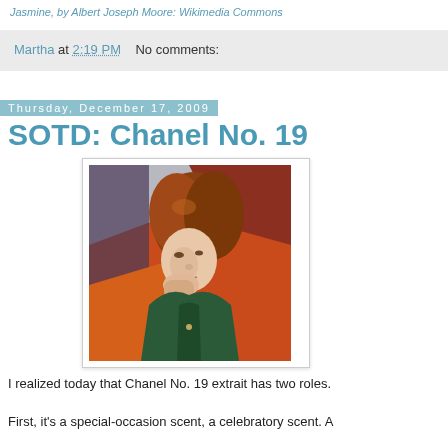Jasmine, by Albert Joseph Moore: Wikimedia Commons
Martha at 2:19 PM   No comments:
Thursday, December 17, 2009
SOTD: Chanel No. 19
[Figure (photo): Impressionist painting of a red-haired woman resting her chin on her hand, wearing a dark green dress, reclining against colorful cushions]
I realized today that Chanel No. 19 extrait has two roles.
First, it's a special-occasion scent, a celebratory scent. A